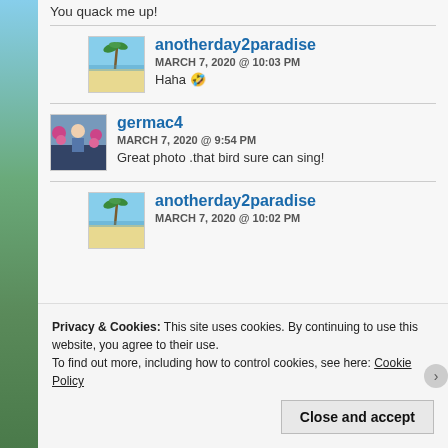You quack me up!
anotherday2paradise
MARCH 7, 2020 @ 10:03 PM
Haha 🤣
germac4
MARCH 7, 2020 @ 9:54 PM
Great photo .that bird sure can sing!
anotherday2paradise
MARCH 7, 2020 @ 10:02 PM
Privacy & Cookies: This site uses cookies. By continuing to use this website, you agree to their use.
To find out more, including how to control cookies, see here: Cookie Policy
Close and accept